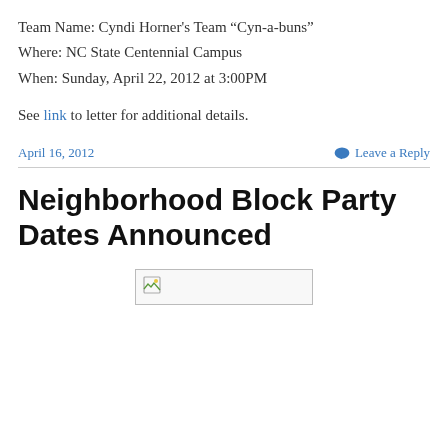Team Name: Cyndi Horner's Team “Cyn-a-buns"
Where: NC State Centennial Campus
When: Sunday, April 22, 2012 at 3:00PM

See link to letter for additional details.
April 16, 2012
Leave a Reply
Neighborhood Block Party Dates Announced
[Figure (photo): Broken image placeholder]